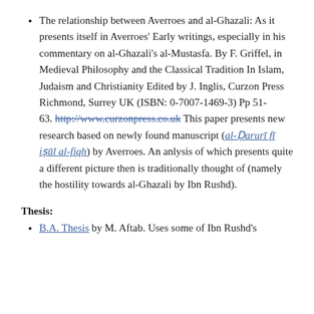The relationship between Averroes and al-Ghazali: As it presents itself in Averroes' Early writings, especially in his commentary on al-Ghazali's al-Mustasfa. By F. Griffel, in Medieval Philosophy and the Classical Tradition In Islam, Judaism and Christianity Edited by J. Inglis, Curzon Press Richmond, Surrey UK (ISBN: 0-7007-1469-3) Pp 51-63. http://www.curzonpress.co.uk This paper presents new research based on newly found manuscript (al-Darurī fī iṣūl al-fiqh) by Averroes. An anlysis of which presents quite a different picture then is traditionally thought of (namely the hostility towards al-Ghazali by Ibn Rushd).
Thesis:
B.A. Thesis by M. Aftab. Uses some of Ibn Rushd's